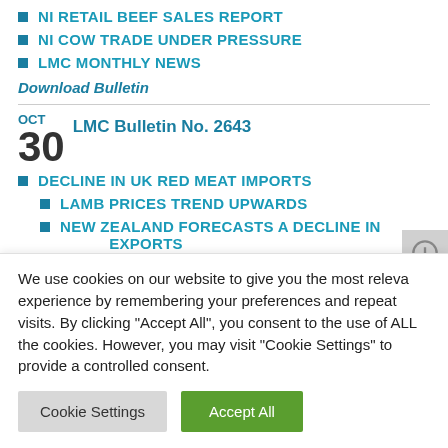NI RETAIL BEEF SALES REPORT
NI COW TRADE UNDER PRESSURE
LMC MONTHLY NEWS
Download Bulletin
OCT 30 LMC Bulletin No. 2643
DECLINE IN UK RED MEAT IMPORTS
LAMB PRICES TREND UPWARDS
NEW ZEALAND FORECASTS A DECLINE IN EXPORTS
WEEKLY BEEF AND LAMB MARKETS
We use cookies on our website to give you the most releva experience by remembering your preferences and repeat visits. By clicking "Accept All", you consent to the use of ALL the cookies. However, you may visit "Cookie Settings" to provide a controlled consent.